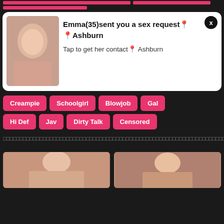[Figure (screenshot): Website screenshot with pink header bars, a popup notification with a photo, category tag buttons, Japanese text description, and two thumbnail photos at the bottom.]
Emma(35)sent you a sex request📍Ashburn
Tap to get her contact📍 Ashburn
Creampie
Schoolgirl
Blowjob
Gal
Hi Def
Jav
Dirty Talk
Censored
□□□□□□□□□□□□□□□□□□□□□□□□□□□□□□□□□□□□□□□□□□□□□□□□□□□□□□□□□□□□□□□□□□□□□□□□□□□□□□□□□□□□□□□□□□□□□□□□□□□□□□□□□□□□□□□□□□□□□□□□□□□□□□□□□□□□□□□□□□□□□□□□□□□□□□□□□□□□□□□□□□□□□□□□□□□□□□□□□□□□□□□□□□□□□□□□□□□□□□□□□□□□□□□□□□□□□□□□□□□□□□□□□□□□□□□□□□□□□□□□□□□□□□□□□□□□□□□□□□□□□□□□□□□□□□□□□□□□□□□□□□□□□□□□□□□□□□□□□□□□□□□□□□□□□□□□□□□□□□□□□□□□□□□□□□□□□□□□□□□□□□□□□□□□□□□□□□□□□□□□□□□□□□□□□□□□□□□□□□□□□□□□□□□□□□□□□□□□□□□□□□□□□□□□□□□□□□□□□□□□□□□□□□□□□□□□□□□□□□□□□□□□□□□□□□□□□□□□□□□□□□□□□□□□□□□□□□□□□□□□□□□□□□□□□□□□□□□□□□□□□□□□□□□□□□□□□□□□□□□□□□□□□□□□□□□□□□□□□□□□□□□□□□□□□□□□□□□□□□□□□□□□□□□□□□□□□□□□□□□□□□□□□□□□□□□□□□□□□□□□□□□□□□□□□□□□□□□□□□□□□□□□□□□□□□□□□□□□□□□□□□□□□□□□□□□□□□□□□□□□□□□□□□□□□□□□□□□□□□□□□□□□□□□□□□□□□□□□□□□□□□□□□□□□□□□□□□□□□□□□□□□□□□□□□□□□□□□□□□□□□□□□□□□□□□□□□□□□□□□□□□□□□□□□□□□□□□□□□□□□□□□□□□□□□□□□□□□□□□□□□□□□□□□□□□□□□□□□□□□□□□□□□